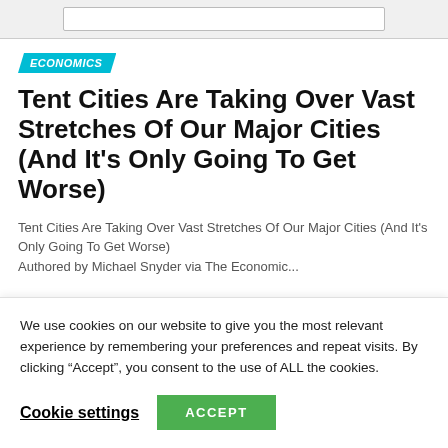Tent Cities Are Taking Over Vast Stretches Of Our Major Cities (And It's Only Going To Get Worse)
Tent Cities Are Taking Over Vast Stretches Of Our Major Cities (And It's Only Going To Get Worse)
Authored by Michael Snyder via The Economic...
We use cookies on our website to give you the most relevant experience by remembering your preferences and repeat visits. By clicking “Accept”, you consent to the use of ALL the cookies.
Cookie settings | ACCEPT